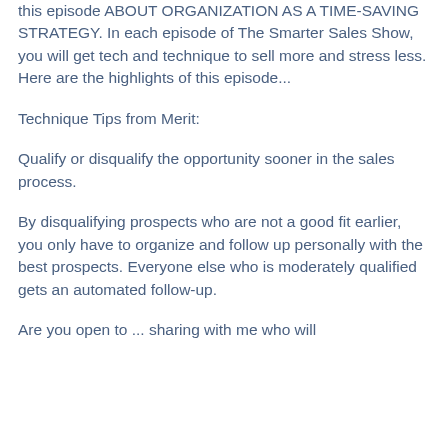this episode ABOUT ORGANIZATION AS A TIME-SAVING STRATEGY. In each episode of The Smarter Sales Show, you will get tech and technique to sell more and stress less. Here are the highlights of this episode...
Technique Tips from Merit:
Qualify or disqualify the opportunity sooner in the sales process.
By disqualifying prospects who are not a good fit earlier, you only have to organize and follow up personally with the best prospects. Everyone else who is moderately qualified gets an automated follow-up.
Are you open to ... sharing with me who will